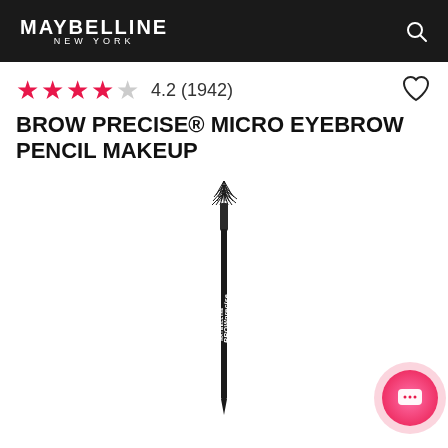MAYBELLINE NEW YORK
4.2 (1942)
BROW PRECISE® MICRO EYEBROW PENCIL MAKEUP
[Figure (photo): A Maybelline Brow Precise Micro Pencil makeup product shown diagonally, with a spoolie brush end at the top and pencil tip at the bottom, black casing with white branding text reading MAYBELLINE BROW precise MICRO PENCIL]